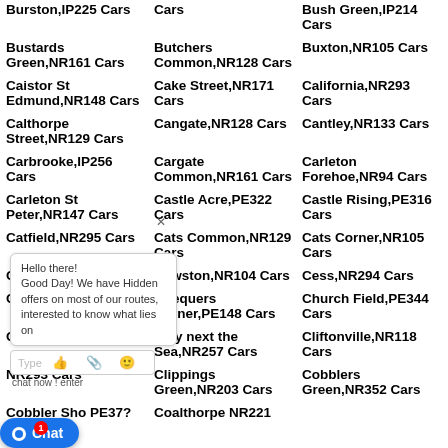Burston,IP225 Cars
Cars
Bush Green,IP214 Cars
Bustards Green,NR161 Cars
Butchers Common,NR128 Cars
Buxton,NR105 Cars
Caistor St Edmund,NR148 Cars
Cake Street,NR171 Cars
California,NR293 Cars
Calthorpe Street,NR129 Cars
Cangate,NR128 Cars
Cantley,NR133 Cars
Carbrooke,IP256 Cars
Cargate Common,NR161 Cars
Carleton Forehoe,NR94 Cars
Carleton St Peter,NR147 Cars
Castle Acre,PE322 Cars
Castle Rising,PE316 Cars
Catfield,NR295 Cars
Cats Common,NR129 Cars
Cats Corner,NR105 Cars
Caudle Cars
Cawston,NR104 Cars
Cess,NR294 Cars
Chedg Cars
Chequers Corner,PE148 Cars
Church Field,PE344 Cars
Clench Cars
Cley next the Sea,NR257 Cars
Cliftonville,NR118 Cars
NR293 Cars
Clippings Green,NR203 Cars
Cobblers Green,NR352 Cars
Cobbler Sho PE37?
Coalthorpe NR221